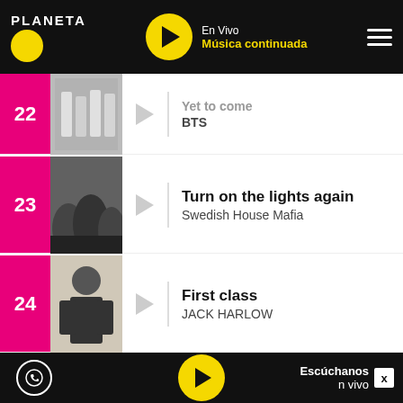PLANETA — En Vivo Música continuada
22 — Yet to come — BTS
23 — Turn on the lights again — Swedish House Mafia
24 — First class — JACK HARLOW
RANKING MEGAPLANETA 20 DE AGOSTO
Escúchanos en vivo